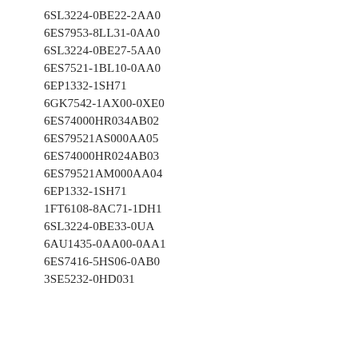6SL3224-0BE22-2AA0
6ES7953-8LL31-0AA0
6SL3224-0BE27-5AA0
6ES7521-1BL10-0AA0
6EP1332-1SH71
6GK7542-1AX00-0XE0
6ES74000HR034AB02
6ES79521AS000AA05
6ES74000HR024AB03
6ES79521AM000AA04
6EP1332-1SH71
1FT6108-8AC71-1DH1
6SL3224-0BE33-0UA
6AU1435-0AA00-0AA1
6ES7416-5HS06-0AB0
3SE5232-0HD031